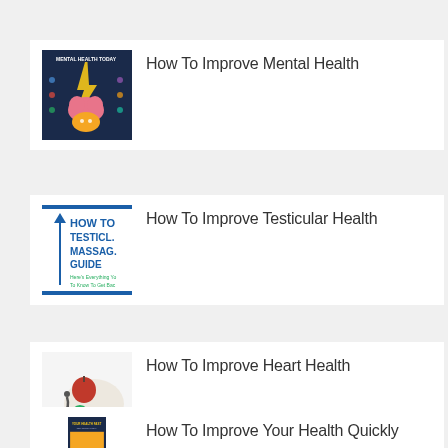How To Improve Mental Health
How To Improve Testicular Health
How To Improve Heart Health
How To Improve Your Health Quickly